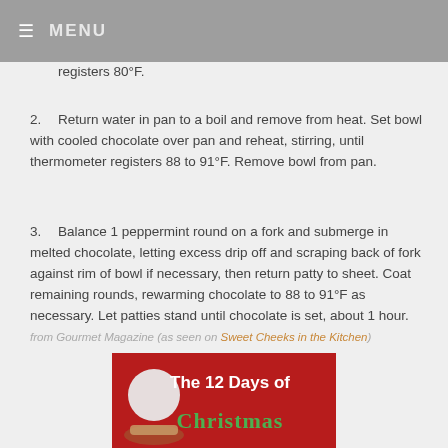MENU
registers 80°F.
Return water in pan to a boil and remove from heat. Set bowl with cooled chocolate over pan and reheat, stirring, until thermometer registers 88 to 91°F. Remove bowl from pan.
Balance 1 peppermint round on a fork and submerge in melted chocolate, letting excess drip off and scraping back of fork against rim of bowl if necessary, then return patty to sheet. Coat remaining rounds, rewarming chocolate to 88 to 91°F as necessary. Let patties stand until chocolate is set, about 1 hour.
from Gourmet Magazine (as seen on Sweet Cheeks in the Kitchen)
[Figure (photo): Banner image showing 'The 12 Days of Christmas' on a red background with a white round candy/ornament and holiday food]